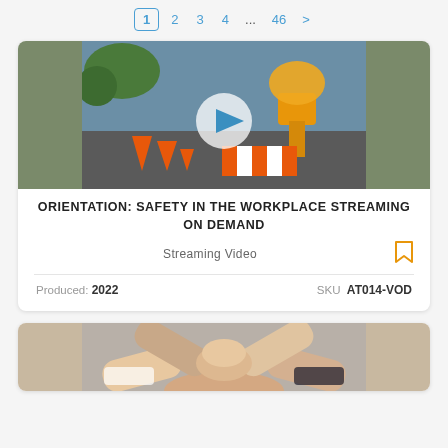1  2  3  4  ...  46  >
[Figure (screenshot): Video thumbnail showing a road construction scene with orange barricade lights and orange/white striped barriers. A semi-transparent play button circle with a blue triangle is overlaid in the center.]
ORIENTATION: SAFETY IN THE WORKPLACE STREAMING ON DEMAND
Streaming Video
Produced: 2022    SKU  AT014-VOD
[Figure (photo): Partial image of group of people putting hands together in a team gesture, visible from elbow down.]